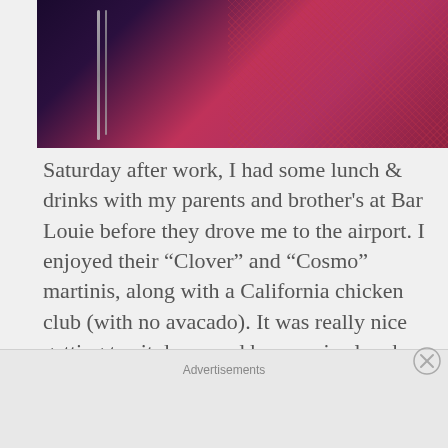[Figure (photo): Close-up photo of a person wearing a dark top with a silver chain necklace and a pink/red knitted sweater or scarf, with a vintage/filtered look]
Saturday after work, I had some lunch & drinks with my parents and brother's at Bar Louie before they drove me to the airport. I enjoyed their “Clover” and “Cosmo” martinis, along with a California chicken club (with no avacado). It was really nice getting to sit down and have a nice lunch with them before I went away for the weekend. My life has been so busy lately which makes me really appreciate the
Advertisements